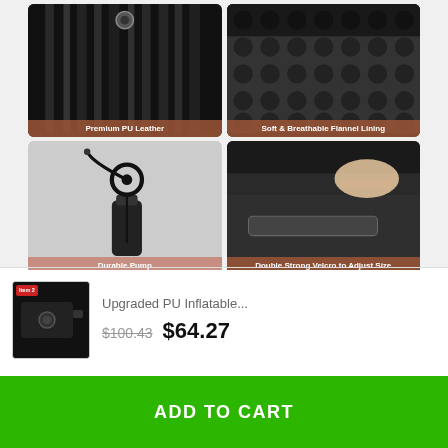[Figure (photo): Four product feature images in a 2x2 grid: top-left shows Premium PU Leather material close-up, top-right shows Soft & Breathable Flannel Lining, bottom-left shows Durable Pump accessory, bottom-right shows Double Strong Velcro to Adjust Size]
[Figure (photo): Small thumbnail of the inflatable product with red Item 2 badge]
Upgraded PU Inflatable...
$100.43 $64.27
ADD TO CART